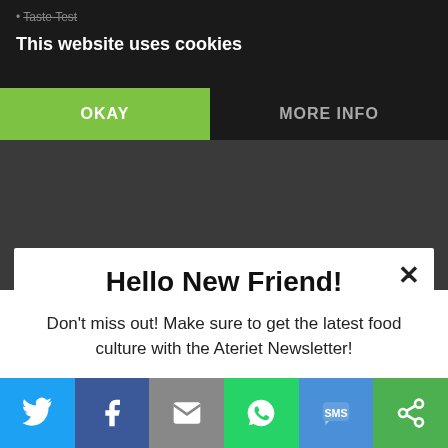• Taste Test
This website uses cookies
OKAY
MORE INFO
Got a great story that we should write about?
Want to get involved or contribute in other ways?
Hello New Friend!
Don't miss out! Make sure to get the latest food culture with the Ateriet Newsletter!
Enter your email
Yes, I want great food culture delivered
[Figure (infographic): Social sharing bar with Twitter, Facebook, Email, WhatsApp, SMS, and other share icons]